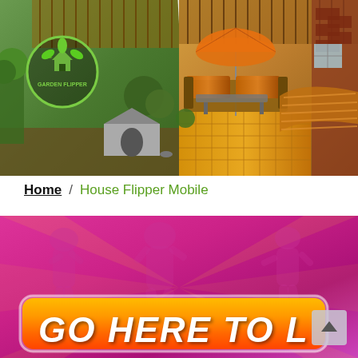[Figure (screenshot): Garden Flipper game banner showing before/after split of a backyard - left side shows unkempt garden with dog house, right side shows renovated patio with orange tiles, patio furniture, and umbrella. Garden Flipper logo in top left.]
Home / House Flipper Mobile
[Figure (screenshot): Promotional banner with pink/magenta gradient background showing dancing/celebrating figure silhouettes. At the bottom is a large orange gradient button with white bold text reading 'GO HERE TO L' (partially visible). A scroll-to-top button is visible in the lower right corner.]